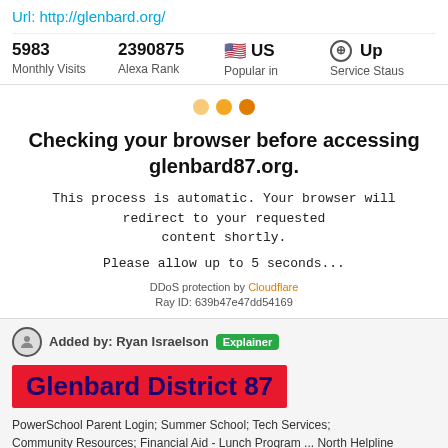Url: http://glenbard.org/
| Monthly Visits | Alexa Rank | Popular in | Service Staus |
| --- | --- | --- | --- |
| 5983 | 2390875 | US | Up |
[Figure (infographic): Three orange dots loading indicator]
Checking your browser before accessing glenbard87.org.
This process is automatic. Your browser will redirect to your requested content shortly.
Please allow up to 5 seconds...
DDoS protection by Cloudflare
Ray ID: 639b47e47dd54169
Added by: Ryan Israelson  Explainer
Glenbard District 87
PowerSchool Parent Login; Summer School; Tech Services; Community Resources; Financial Aid - Lunch Program ... North Helpline 630.681.3192 East Helpline 630.424.6670 West Helpline 630.942.7406 Bloomingdale Helpline 630.790.8000 534 Democrat Blvd Glen Ellyn ...